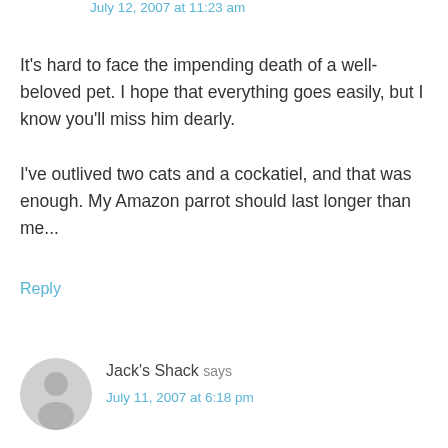July 12, 2007 at 11:23 am
It's hard to face the impending death of a well-beloved pet. I hope that everything goes easily, but I know you'll miss him dearly.
I've outlived two cats and a cockatiel, and that was enough. My Amazon parrot should last longer than me...
Reply
[Figure (illustration): Gray placeholder avatar icon showing a person silhouette]
Jack's Shack says
July 11, 2007 at 6:18 pm